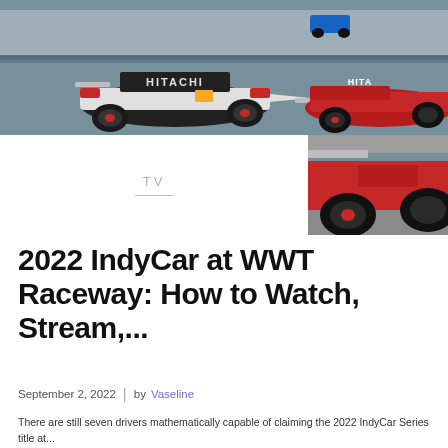[Figure (photo): IndyCar racing cars on a street circuit, featuring a white car with HITACHI livery in the foreground and a red IndyCar on the right, with barriers and urban surroundings in the background.]
TV
[Figure (photo): Partial view of a red IndyCar racing car]
2022 IndyCar at WWT Raceway: How to Watch, Stream,...
September 2, 2022  |  by Vaseline
There are still seven drivers mathematically capable of claiming the 2022 IndyCar Series title at...